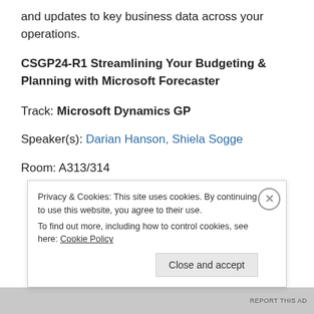and updates to key business data across your operations.
CSGP24-R1 Streamlining Your Budgeting & Planning with Microsoft Forecaster
Track: Microsoft Dynamics GP
Speaker(s): Darian Hanson, Shiela Sogge
Room: A313/314
Privacy & Cookies: This site uses cookies. By continuing to use this website, you agree to their use.
To find out more, including how to control cookies, see here: Cookie Policy